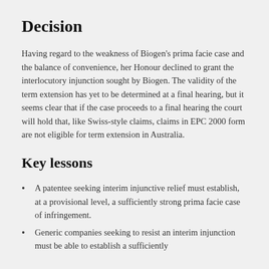Decision
Having regard to the weakness of Biogen’s prima facie case and the balance of convenience, her Honour declined to grant the interlocutory injunction sought by Biogen. The validity of the term extension has yet to be determined at a final hearing, but it seems clear that if the case proceeds to a final hearing the court will hold that, like Swiss-style claims, claims in EPC 2000 form are not eligible for term extension in Australia.
Key lessons
A patentee seeking interim injunctive relief must establish, at a provisional level, a sufficiently strong prima facie case of infringement.
Generic companies seeking to resist an interim injunction must be able to establish a sufficiently strong invalidity case at the provisional level.